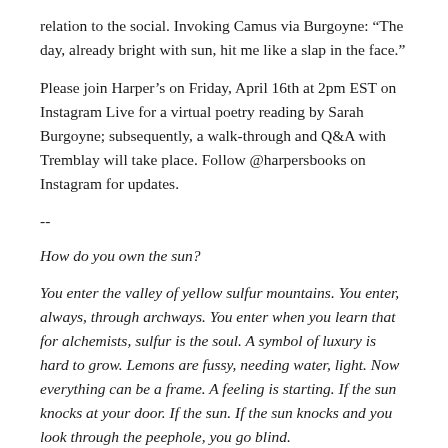relation to the social. Invoking Camus via Burgoyne: “The day, already bright with sun, hit me like a slap in the face.”
Please join Harper’s on Friday, April 16th at 2pm EST on Instagram Live for a virtual poetry reading by Sarah Burgoyne; subsequently, a walk-through and Q&A with Tremblay will take place. Follow @harpersbooks on Instagram for updates.
--
How do you own the sun?
You enter the valley of yellow sulfur mountains. You enter, always, through archways. You enter when you learn that for alchemists, sulfur is the soul. A symbol of luxury is hard to grow. Lemons are fussy, needing water, light. Now everything can be a frame. A feeling is starting. If the sun knocks at your door. If the sun. If the sun knocks and you look through the peephole, you go blind.
Open the door. The painting is on foot. The painting is lost. The painting encounters a gargantuan desert hare. Fear is in annihilating the gap. The